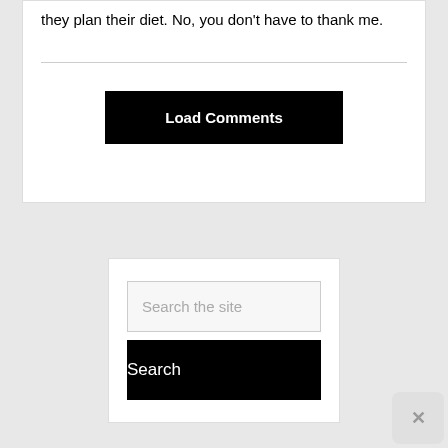they plan their diet. No, you don't have to thank me.
Load Comments
Search the site
Search